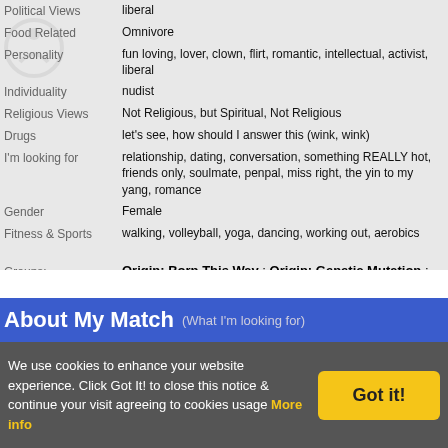| Field | Value |
| --- | --- |
| Political Views | liberal |
| Food Related | Omnivore |
| Personality | fun loving, lover, clown, flirt, romantic, intellectual, activist, liberal |
| Individuality | nudist |
| Religious Views | Not Religious, but Spiritual, Not Religious |
| Drugs | let's see, how should I answer this (wink, wink) |
| I'm looking for | relationship, dating, conversation, something REALLY hot, friends only, soulmate, penpal, miss right, the yin to my yang, romance |
| Gender | Female |
| Fitness & Sports | walking, volleyball, yoga, dancing, working out, aerobics |
Groups: Origin: Born This Way ; Origin: Genetic Mutation ; Origin: Laboratory Experiment ; Origin: Natural Abilities + Special Equipment
About My Match (What I'm looking for)
We use cookies to enhance your website experience. Click Got It! to close this notice & continue your visit agreeing to cookies usage More info